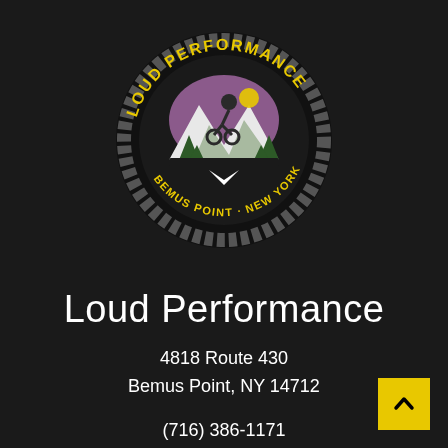[Figure (logo): Loud Performance circular logo with yellow text 'LOUD PERFORMANCE' and 'BEMUS POINT · NEW YORK' around a bicycle/mountain imagery with a chain border, on black background]
Loud Performance
4818 Route 430
Bemus Point, NY 14712
(716) 386-1171
Directions & Hours